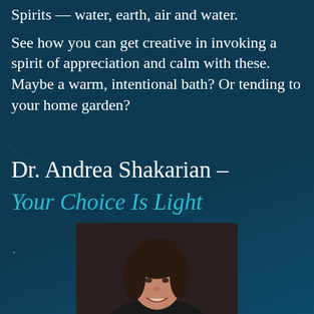Spirits — water, earth, air and water.
See how you can get creative in invoking a spirit of appreciation and calm with these. Maybe a warm, intentional bath? Or tending to your home garden?
Dr. Andrea Shakarian – Your Choice Is Light
[Figure (photo): Professional headshot of Dr. Andrea Shakarian, a woman with dark shoulder-length hair, smiling, against a dark background.]